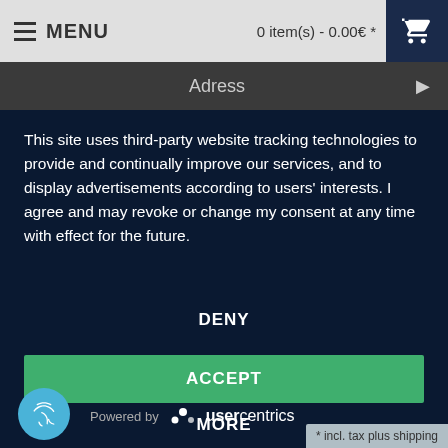≡ MENU   0 item(s) - 0.00€ *  🛒
Adress ▶
This site uses third-party website tracking technologies to provide and continually improve our services, and to display advertisements according to users' interests. I agree and may revoke or change my consent at any time with effect for the future.
DENY
ACCEPT
MORE
Powered by usercentrics
* incl. tax plus shipping